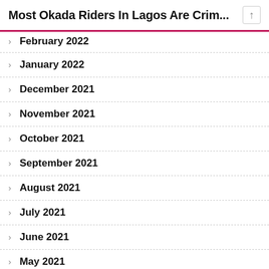Most Okada Riders In Lagos Are Crim...
February 2022
January 2022
December 2021
November 2021
October 2021
September 2021
August 2021
July 2021
June 2021
May 2021
April 2021